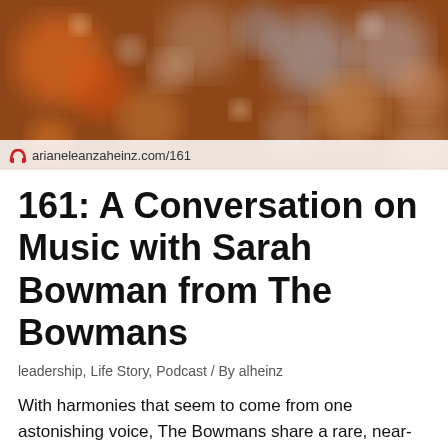[Figure (photo): Bokeh background photo with colorful blurred lights in warm orange, blue, and white tones. Website URL overlay reads marianeleanzaheinz.com/161 with a red arch logo icon.]
161: A Conversation on Music with Sarah Bowman from The Bowmans
leadership, Life Story, Podcast / By alheinz
With harmonies that seem to come from one astonishing voice, The Bowmans share a rare, near-telepathic musical bond. Twin sisters Sarah and Claire Bowman are a “roller coaster” duo, whose music ranges from poignantly captivating to serendipitously joyful. Their music is both sophisticated and imaginative, and they deeply move and delight their audiences with uncanny, ...